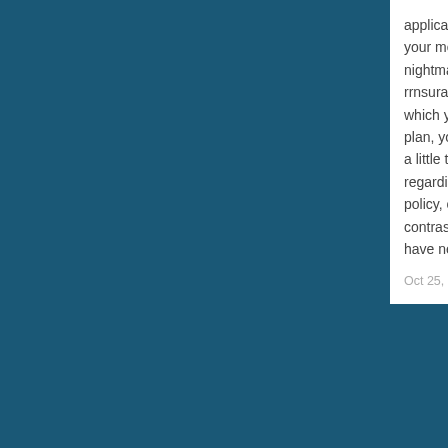application during a your medical chea nightmares.|The st rrnsurance coverag which you do not m plan, you'll want to a little time can go regarding dropping policy, or in order t contrast to pretty m have nearly a sam
Oct 25, 2013 10:59:0
Com
The comments to b
P
Breast Augmenta
finale show just kee passing year. The p